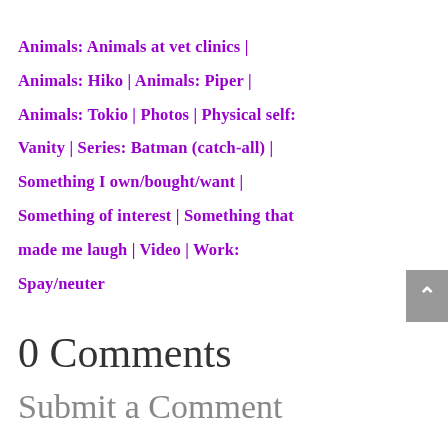Animals: Animals at vet clinics | Animals: Hiko | Animals: Piper | Animals: Tokio | Photos | Physical self: Vanity | Series: Batman (catch-all) | Something I own/bought/want | Something of interest | Something that made me laugh | Video | Work: Spay/neuter
0 Comments
Submit a Comment